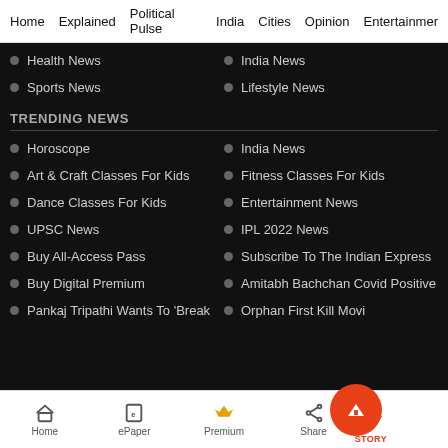Home  Explained  Political Pulse  India  Cities  Opinion  Entertainment
Health News
India News
Sports News
Lifestyle News
TRENDING NEWS
Horoscope
India News
Art & Craft Classes For Kids
Fitness Classes For Kids
Dance Classes For Kids
Entertainment News
UPSC News
IPL 2022 News
Buy All-Access Pass
Subscribe To The Indian Express
Buy Digital Premium
Amitabh Bachchan Covid Positive
Pankaj Tripathi Wants To 'Break
Orphan First Kill Movi
Home  ePaper  Premium  Share  STORY